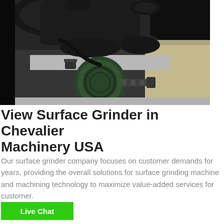[Figure (photo): Close-up photo of surface grinder machinery components — dark metal parts, a green motor/spindle assembly, and a metallic surface grinder machine in an industrial setting.]
View Surface Grinder in Chevalier Machinery USA
Our surface grinder company focuses on customer demands for years, providing the overall solutions for surface grinding machine and machining technology to maximize value-added services for customer.
Live Chat